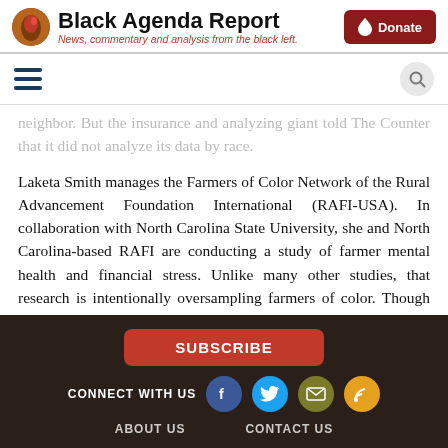Black Agenda Report — News, commentary and analysis from the black left.
neighbor. But the insurance analyzing giant told The Counter that it did not analyze its data by race.
Laketa Smith manages the Farmers of Color Network of the Rural Advancement Foundation International (RAFI-USA). In collaboration with North Carolina State University, she and North Carolina-based RAFI are conducting a study of farmer mental health and financial stress. Unlike many other studies, that research is intentionally oversampling farmers of color. Though the study won't conclude until later this year, it will interview 15 Black and Indigenous farmers,
SUBSCRIBE | CONNECT WITH US | ABOUT US | CONTACT US